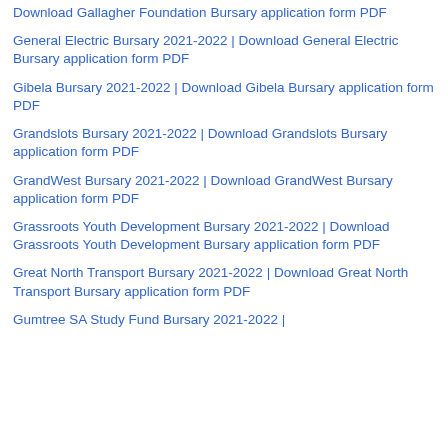Download Gallagher Foundation Bursary application form PDF
General Electric Bursary 2021-2022 | Download General Electric Bursary application form PDF
Gibela Bursary 2021-2022 | Download Gibela Bursary application form PDF
Grandslots Bursary 2021-2022 | Download Grandslots Bursary application form PDF
GrandWest Bursary 2021-2022 | Download GrandWest Bursary application form PDF
Grassroots Youth Development Bursary 2021-2022 | Download Grassroots Youth Development Bursary application form PDF
Great North Transport Bursary 2021-2022 | Download Great North Transport Bursary application form PDF
Gumtree SA Study Fund Bursary 2021-2022 |